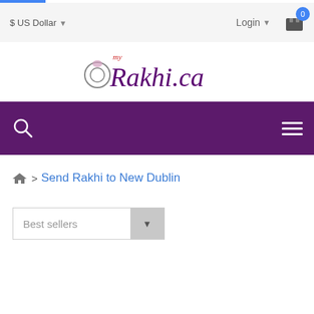$ US Dollar  Login  0
[Figure (logo): MyRakhi.ca logo with decorative script font and ring illustration]
Search and Menu navigation bar (purple)
Home > Send Rakhi to New Dublin
Best sellers (dropdown)